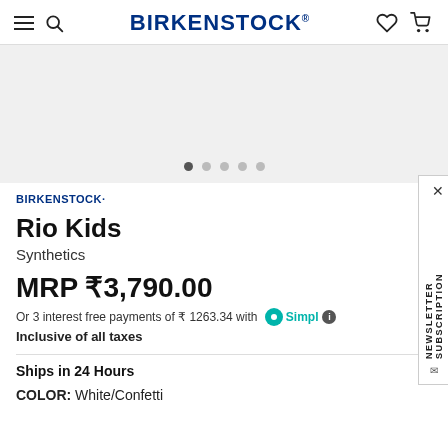BIRKENSTOCK
[Figure (other): Product image carousel area with 5 navigation dots]
BIRKENSTOCK·
Rio Kids
Synthetics
MRP ₹3,790.00
Or 3 interest free payments of ₹ 1263.34 with Simpl ℹ
Inclusive of all taxes
Ships in 24 Hours
COLOR: White/Confetti